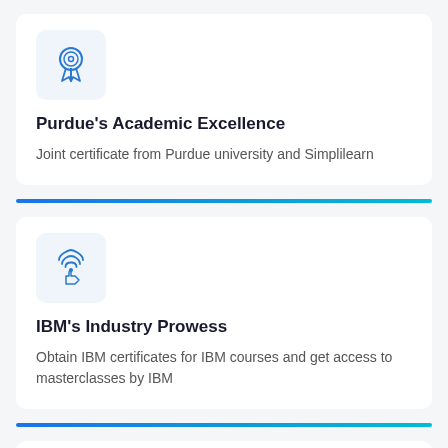[Figure (illustration): Blue medal/award ribbon icon inside a light blue rounded square box]
Purdue's Academic Excellence
Joint certificate from Purdue university and Simplilearn
[Figure (illustration): Blue hand pointing with circular signal/wireless icon above it, inside a light blue rounded square box]
IBM's Industry Prowess
Obtain IBM certificates for IBM courses and get access to masterclasses by IBM
[Figure (illustration): Blue globe/network icon inside a light blue rounded square box, partially visible]